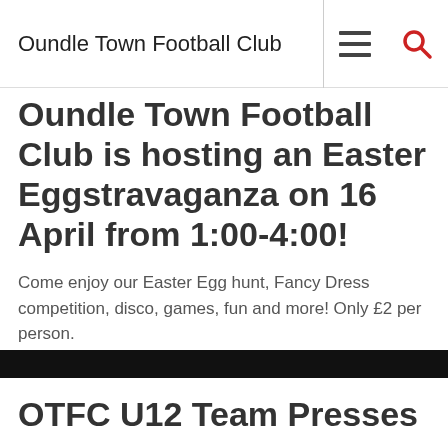Oundle Town Football Club
Oundle Town Football Club is hosting an Easter Eggstravaganza on 16 April from 1:00-4:00!
Come enjoy our Easter Egg hunt, Fancy Dress competition, disco, games, fun and more! Only £2 per person.
OTFC U12 Team Presses